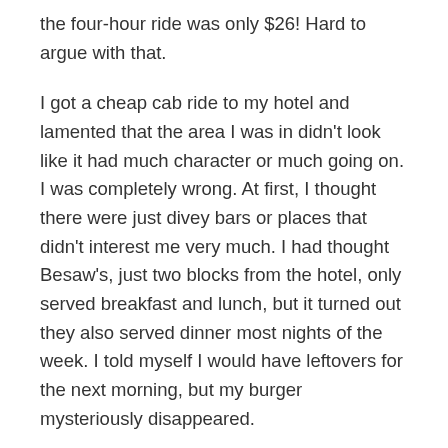the four-hour ride was only $26!  Hard to argue with that.
I got a cheap cab ride to my hotel and lamented that the area I was in didn't look like it had much character or much going on.  I was completely wrong.  At first, I thought there were just divey bars or places that didn't interest me very much.  I had thought Besaw's, just two blocks from the hotel, only served breakfast and lunch, but it turned out they also served dinner most nights of the week.  I told myself I would have leftovers for the next morning, but my burger mysteriously disappeared.
The next day, I set out early to rent a car–I was tired of dealing with public transportation and also figured I'd be driving out a bit beyond its reach anyway.  I hadn't made a prior reservation, so the woman working at Enterprise told me they only had a luxury car or a truck.  Neither of those sounded great to me, but I knew there was no way I